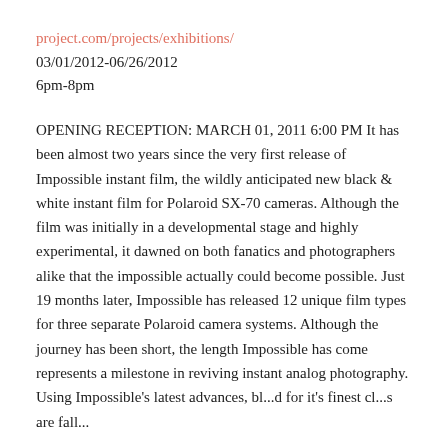project.com/projects/exhibitions/
03/01/2012-06/26/2012
6pm-8pm
OPENING RECEPTION: MARCH 01, 2011 6:00 PM It has been almost two years since the very first release of Impossible instant film, the wildly anticipated new black & white instant film for Polaroid SX-70 cameras. Although the film was initially in a developmental stage and highly experimental, it dawned on both fanatics and photographers alike that the impossible actually could become possible. Just 19 months later, Impossible has released 12 unique film types for three separate Polaroid camera systems. Although the journey has been short, the length Impossible has come represents a milestone in reviving instant analog photography. Using Impossible's latest advances, bl...d for it's finest cl...s are fall...